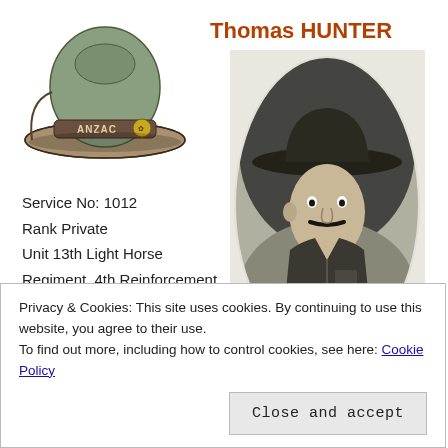[Figure (illustration): An ANZAC slouch hat with 'ANZAC' text and a badge on the brim, painted/illustrated style, greenish-brown color.]
Thomas HUNTER
[Figure (photo): Black and white oval portrait photograph of a soldier (Thomas Hunter) wearing a wide-brimmed military hat and uniform, with a mustache.]
Service No: 1012
Rank Private
Unit 13th Light Horse Regiment, 4th Reinforcement
Privacy & Cookies: This site uses cookies. By continuing to use this website, you agree to their use.
To find out more, including how to control cookies, see here: Cookie Policy
Close and accept